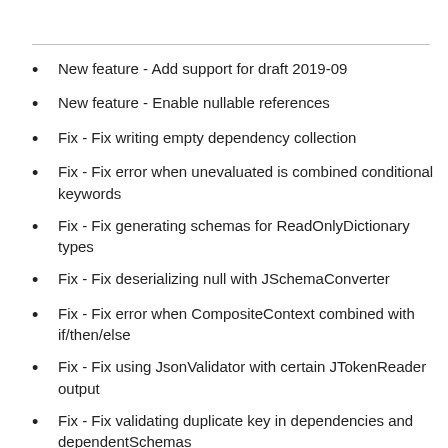New feature - Add support for draft 2019-09
New feature - Enable nullable references
Fix - Fix writing empty dependency collection
Fix - Fix error when unevaluated is combined conditional keywords
Fix - Fix generating schemas for ReadOnlyDictionary types
Fix - Fix deserializing null with JSchemaConverter
Fix - Fix error when CompositeContext combined with if/then/else
Fix - Fix using JsonValidator with certain JTokenReader output
Fix - Fix validating duplicate key in dependencies and dependentSchemas